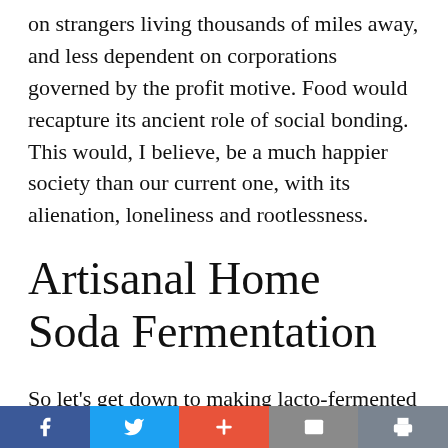on strangers living thousands of miles away, and less dependent on corporations governed by the profit motive. Food would recapture its ancient role of social bonding. This would, I believe, be a much happier society than our current one, with its alienation, loneliness and rootlessness.
Artisanal Home Soda Fermentation
So let's get down to making lacto-fermented soda–the real thing. The first step is simply to realize that it is very easy. The minimum
f  [Twitter]  +  [Mail]  [Print]